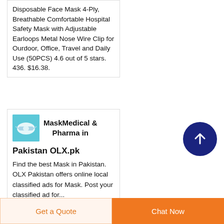Disposable Face Mask 4-Ply, Breathable Comfortable Hospital Safety Mask with Adjustable Earloops Metal Nose Wire Clip for Ourdoor, Office, Travel and Daily Use (50PCS) 4.6 out of 5 stars. 436. $16.38.
[Figure (illustration): Small thumbnail image showing a medical mask product, blue/teal color]
MaskMedical & Pharma in Pakistan OLX.pk
Find the best Mask in Pakistan. OLX Pakistan offers online local classified ads for Mask. Post your classified ad for...
[Figure (illustration): Dark navy blue circular scroll-to-top button with upward arrow icon]
Get a Quote
Chat Now